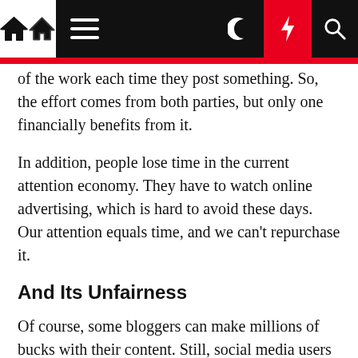Navigation bar with home, menu, moon, lightning, and search icons
of the work each time they post something. So, the effort comes from both parties, but only one financially benefits from it.
In addition, people lose time in the current attention economy. They have to watch online advertising, which is hard to avoid these days. Our attention equals time, and we can't repurchase it.
And Its Unfairness
Of course, some bloggers can make millions of bucks with their content. Still, social media users typically don't get any money from corporations like Facebook and Twitter for the data they are creating. But for most users, the reality is gruesome. In 2020, Internet guru and technologist Tim O'Reilly calculated how much money a user would make per